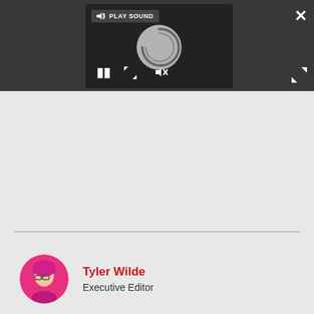[Figure (screenshot): Dark media player bar with a video player widget showing a loading spinner, PLAY SOUND button, pause button, close (X) button, and expand arrows button]
[Figure (photo): Circular avatar photo of Tyler Wilde with pink/magenta hair and glasses on a pink background]
Tyler Wilde
Executive Editor